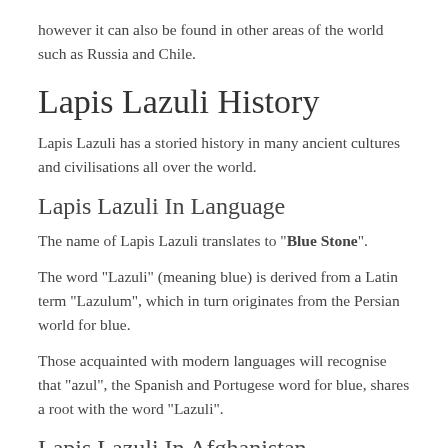however it can also be found in other areas of the world such as Russia and Chile.
Lapis Lazuli History
Lapis Lazuli has a storied history in many ancient cultures and civilisations all over the world.
Lapis Lazuli In Language
The name of Lapis Lazuli translates to "Blue Stone".
The word "Lazuli" (meaning blue) is derived from a Latin term "Lazulum", which in turn originates from the Persian world for blue.
Those acquainted with modern languages will recognise that "azul", the Spanish and Portugese word for blue, shares a root with the word "Lazuli".
Lapis Lazuli In Afghanistan